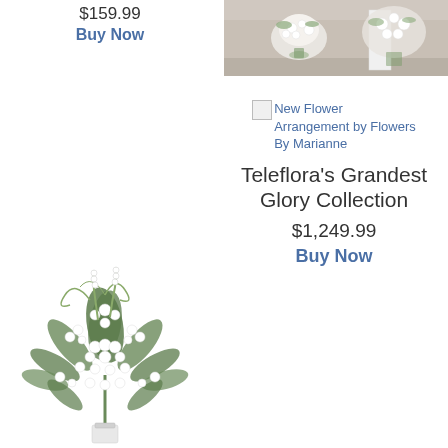$159.99
Buy Now
[Figure (photo): Photo of white flower arrangement in a church/hall setting]
[Figure (photo): Broken image placeholder for New Flower Arrangement by Flowers By Marianne]
New Flower Arrangement by Flowers By Marianne
Teleflora's Grandest Glory Collection
$1,249.99
Buy Now
[Figure (photo): White floral standing spray arrangement with lilies and greenery]